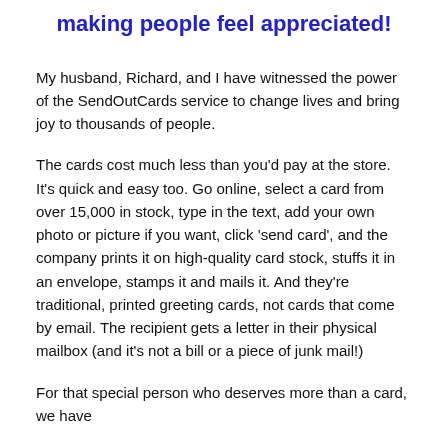making people feel appreciated!
My husband, Richard, and I have witnessed the power of the SendOutCards service to change lives and bring joy to thousands of people.
The cards cost much less than you’d pay at the store. It’s quick and easy too. Go online, select a card from over 15,000 in stock, type in the text, add your own photo or picture if you want, click ‘send card’, and the company prints it on high-quality card stock, stuffs it in an envelope, stamps it and mails it. And they’re traditional, printed greeting cards, not cards that come by email. The recipient gets a letter in their physical mailbox (and it’s not a bill or a piece of junk mail!)
For that special person who deserves more than a card, we have gifts to...